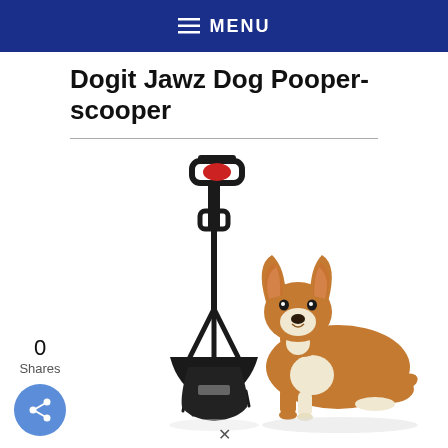MENU
Dogit Jawz Dog Pooper-scooper
[Figure (photo): A black pooper-scooper tool (Dogit Jawz) standing upright next to a brown and white Corgi dog lying down on a white background.]
0
Shares